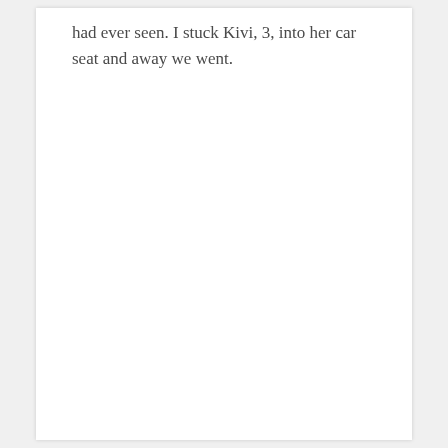had ever seen. I stuck Kivi, 3, into her car seat and away we went.